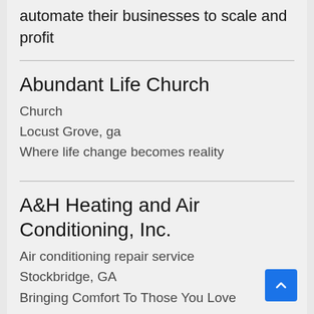automate their businesses to scale and profit
Abundant Life Church
Church
Locust Grove, ga
Where life change becomes reality
A&H Heating and Air Conditioning, Inc.
Air conditioning repair service
Stockbridge, GA
Bringing Comfort To Those You Love